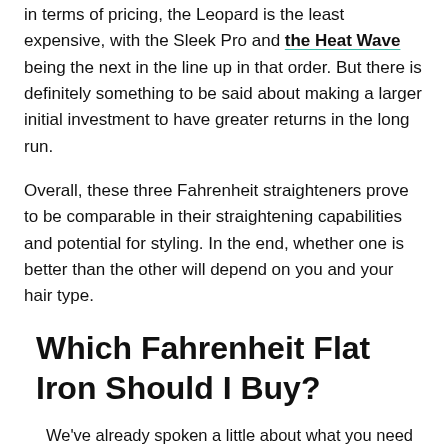in terms of pricing, the Leopard is the least expensive, with the Sleek Pro and the Heat Wave being the next in the line up in that order. But there is definitely something to be said about making a larger initial investment to have greater returns in the long run.
Overall, these three Fahrenheit straighteners prove to be comparable in their straightening capabilities and potential for styling. In the end, whether one is better than the other will depend on you and your hair type.
Which Fahrenheit Flat Iron Should I Buy?
We've already spoken a little about what you need to consider when choosing the right flat iron straightener for you.
We've built a comprehensive guide on the best Fahrenheit flat irons for you to browse, and the priorities like, both...